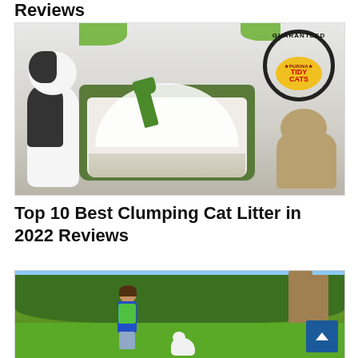Reviews
[Figure (photo): Product photo showing a green and white cat litter box with a scoop, a black-and-white cat on the left, a tabby cat on the right, and a Purina Tidy Cats 'Guaranteed' badge in the upper right corner with green leaf accents at the top.]
Top 10 Best Clumping Cat Litter in 2022 Reviews
[Figure (photo): Outdoor park scene showing a person in a blue jacket and green shirt walking with a small white dog, surrounded by green trees and grass.]